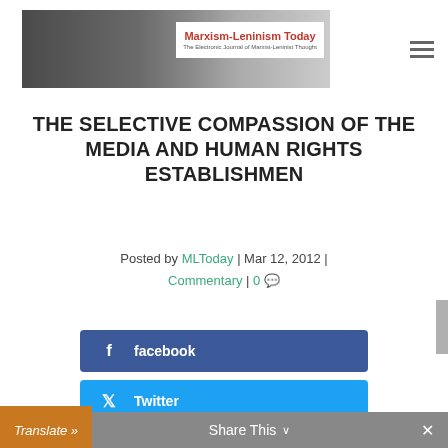Marxism-Leninism Today — The Electronic Journal of Marxist-Leninist Thought
THE SELECTIVE COMPASSION OF THE MEDIA AND HUMAN RIGHTS ESTABLISHMEN
Posted by MLToday | Mar 12, 2012 | Commentary | 0
[Figure (other): Facebook share button]
[Figure (other): Twitter share button]
Translate » Share This ×